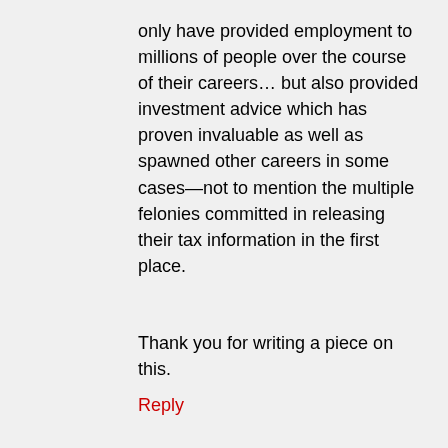only have provided employment to millions of people over the course of their careers… but also provided investment advice which has proven invaluable as well as spawned other careers in some cases—not to mention the multiple felonies committed in releasing their tax information in the first place.
Thank you for writing a piece on this.
Reply